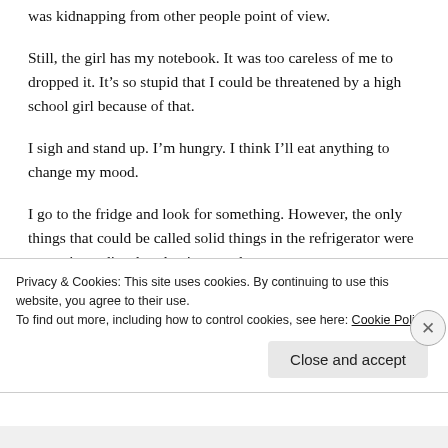was kidnapping from other people point of view.
Still, the girl has my notebook. It was too careless of me to dropped it. It’s so stupid that I could be threatened by a high school girl because of that.
I sigh and stand up. I’m hungry. I think I’ll eat anything to change my mood.
I go to the fridge and look for something. However, the only things that could be called solid things in the refrigerator were seasonings, discolored onions, and
Privacy & Cookies: This site uses cookies. By continuing to use this website, you agree to their use.
To find out more, including how to control cookies, see here: Cookie Policy